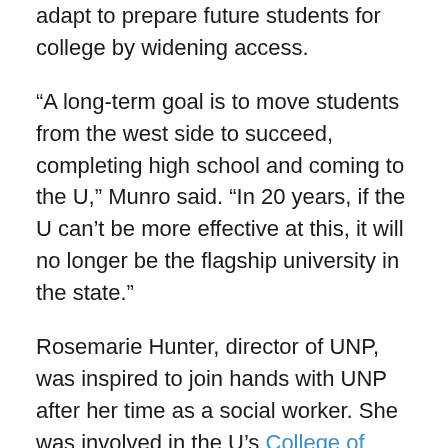adapt to prepare future students for college by widening access.
“A long-term goal is to move students from the west side to succeed, completing high school and coming to the U,” Munro said. “In 20 years, if the U can’t be more effective at this, it will no longer be the flagship university in the state.”
Rosemarie Hunter, director of UNP, was inspired to join hands with UNP after her time as a social worker. She was involved in the U’s College of Social Work for 16 years.
Hunter said education allows individuals to make choices and decisions from a place of knowledge.
“Education is a shared value across all communities and families,” she said. “Education really is power — anytime you can get access to education, you can take better care of yourself and your family.”